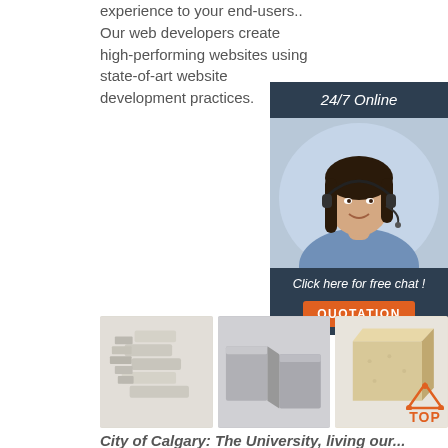experience to your end-users.. Our web developers create high-performing websites using state-of-art website development practices.
[Figure (infographic): 24/7 Online support widget with dark blue background, photo of smiling woman with headset, 'Click here for free chat!' text, and orange QUOTATION button]
[Figure (photo): Orange 'Get Price' button]
[Figure (photo): Three product images showing white/grey brick or block shaped items, with a TOP badge on the third image]
City of Calgary: The University, living our...